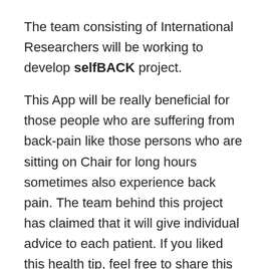The team consisting of International Researchers will be working to develop selfBACK project.
This App will be really beneficial for those people who are suffering from back-pain like those persons who are sitting on Chair for long hours sometimes also experience back pain. The team behind this project has claimed that it will give individual advice to each patient. If you liked this health tip, feel free to share this with your friends.